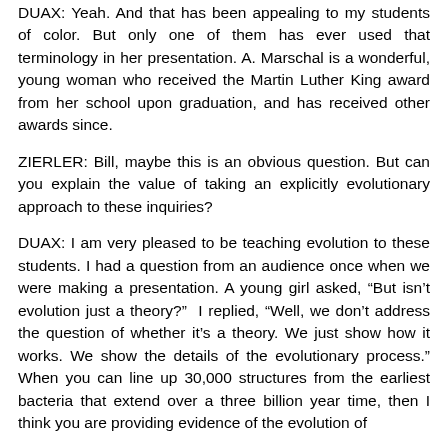DUAX: Yeah. And that has been appealing to my students of color. But only one of them has ever used that terminology in her presentation. A. Marschal is a wonderful, young woman who received the Martin Luther King award from her school upon graduation, and has received other awards since.
ZIERLER: Bill, maybe this is an obvious question. But can you explain the value of taking an explicitly evolutionary approach to these inquiries?
DUAX: I am very pleased to be teaching evolution to these students. I had a question from an audience once when we were making a presentation. A young girl asked, “But isn’t evolution just a theory?”  I replied, “Well, we don’t address the question of whether it’s a theory. We just show how it works. We show the details of the evolutionary process.” When you can line up 30,000 structures from the earliest bacteria that extend over a three billion year time, then I think you are providing evidence of the evolution of